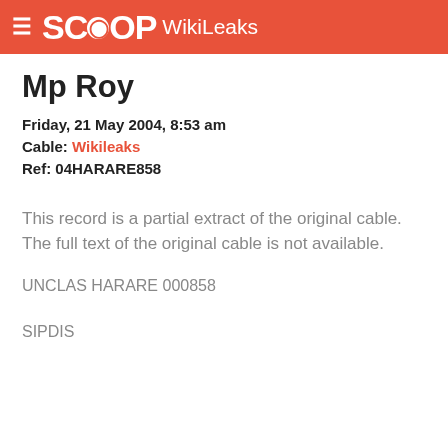SCOOP WikiLeaks
Mp Roy
Friday, 21 May 2004, 8:53 am
Cable: Wikileaks
Ref: 04HARARE858
This record is a partial extract of the original cable. The full text of the original cable is not available.
UNCLAS HARARE 000858
SIPDIS